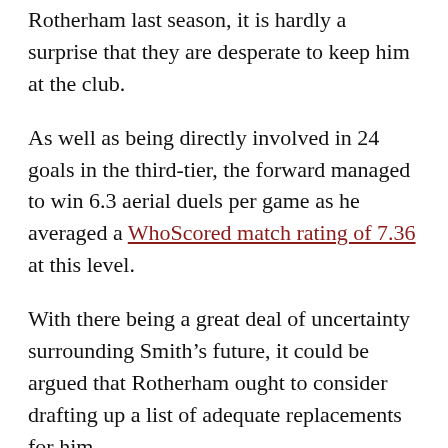Rotherham last season, it is hardly a surprise that they are desperate to keep him at the club.
As well as being directly involved in 24 goals in the third-tier, the forward managed to win 6.3 aerial duels per game as he averaged a WhoScored match rating of 7.36 at this level.
With there being a great deal of uncertainty surrounding Smith's future, it could be argued that Rotherham ought to consider drafting up a list of adequate replacements for him.
Providing that Warne is able to sign a forward who possesses a good track-record of delivering the goods in the Championship, this could soften the blow of losing Smith if he opts to move on to pastures new in the coming weeks.